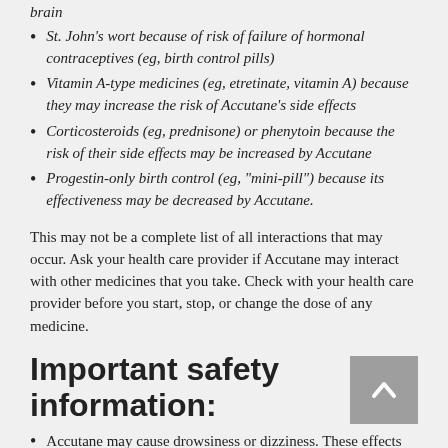St. John's wort because of risk of failure of hormonal contraceptives (eg, birth control pills)
Vitamin A-type medicines (eg, etretinate, vitamin A) because they may increase the risk of Accutane's side effects
Corticosteroids (eg, prednisone) or phenytoin because the risk of their side effects may be increased by Accutane
Progestin-only birth control (eg, "mini-pill") because its effectiveness may be decreased by Accutane.
This may not be a complete list of all interactions that may occur. Ask your health care provider if Accutane may interact with other medicines that you take. Check with your health care provider before you start, stop, or change the dose of any medicine.
Important safety information:
Accutane may cause drowsiness or dizziness. These effects may be worse if you take it with alcohol or certain medicines. Use Accutane with caution. Do not drive or